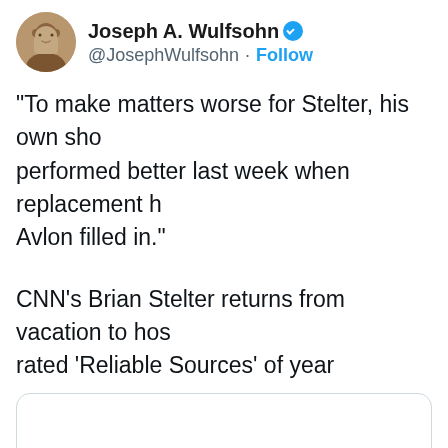[Figure (screenshot): Twitter/X screenshot showing a tweet by Joseph A. Wulfsohn with avatar photo, verified badge, handle @JosephWulfsohn, Follow button, tweet text about Stelter, and embedded link card for CNN article about Brian Stelter returning from vacation to host lowest-rated Reliable Sources of year.]
“To make matters worse for Stelter, his own show performed better last week when replacement host Avlon filled in.”
CNN’s Brian Stelter returns from vacation to host lowest-rated ‘Reliable Sources’ of year